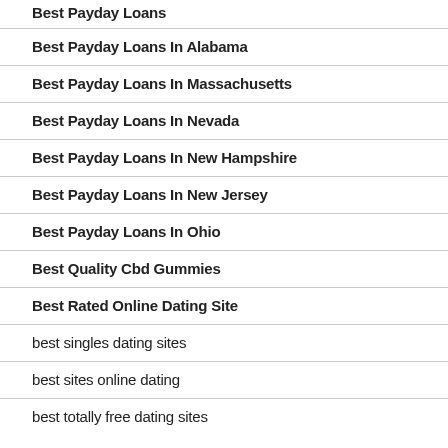Best Payday Loans
Best Payday Loans In Alabama
Best Payday Loans In Massachusetts
Best Payday Loans In Nevada
Best Payday Loans In New Hampshire
Best Payday Loans In New Jersey
Best Payday Loans In Ohio
Best Quality Cbd Gummies
Best Rated Online Dating Site
best singles dating sites
best sites online dating
best totally free dating sites